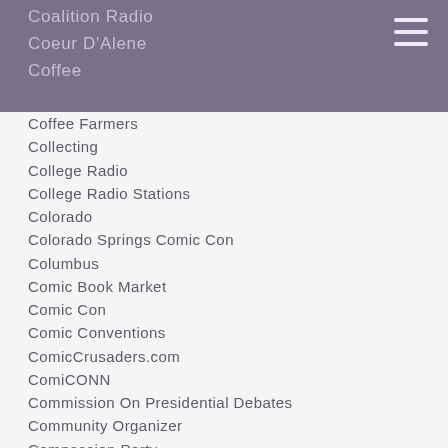Coalition Radio
Coeur D'Alene
Coffee
Coffee Farmers
Collecting
College Radio
College Radio Stations
Colorado
Colorado Springs Comic Con
Columbus
Comic Book Market
Comic Con
Comic Conventions
ComicCrusaders.com
ComiCONN
Commission On Presidential Debates
Community Organizer
Compassion Party
Concerts
Conservatives Concerned About The Death Penalty
Contemporary Art